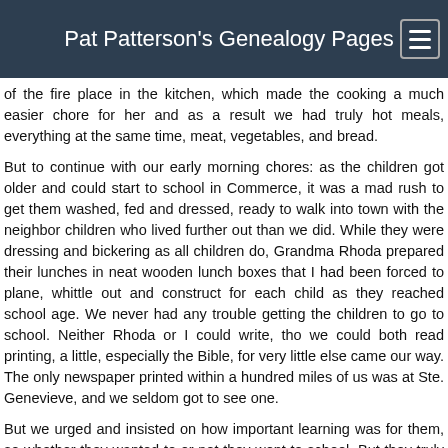Pat Patterson's Genealogy Pages
of the fire place in the kitchen, which made the cooking a much easier chore for her and as a result we had truly hot meals, everything at the same time, meat, vegetables, and bread.
But to continue with our early morning chores: as the children got older and could start to school in Commerce, it was a mad rush to get them washed, fed and dressed, ready to walk into town with the neighbor children who lived further out than we did. While they were dressing and bickering as all children do, Grandma Rhoda prepared their lunches in neat wooden lunch boxes that I had been forced to plane, whittle out and construct for each child as they reached school age. We never had any trouble getting the children to go to school. Neither Rhoda or I could write, tho we could both read printing, a little, especially the Bible, for very little else came our way. The only newspaper printed within a hundred miles of us was at Ste. Genevieve, and we seldom got to see one.
But we urged and insisted on how important learning was for them, so whether they wanted to or not they went to school. But they truly wanted to go! They got into Commerce every day, and by now it was a growing, booming place. Way back in 1798, James Brady and Jim Curran had